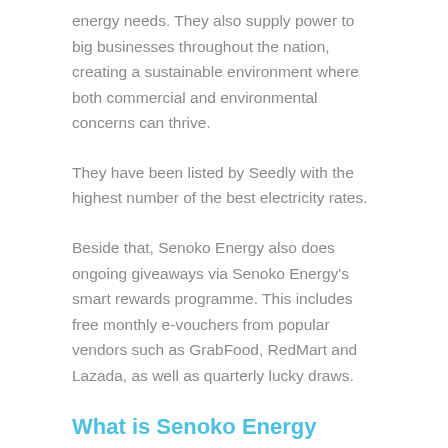energy needs. They also supply power to big businesses throughout the nation, creating a sustainable environment where both commercial and environmental concerns can thrive.
They have been listed by Seedly with the highest number of the best electricity rates.
Beside that, Senoko Energy also does ongoing giveaways via Senoko Energy's smart rewards programme. This includes free monthly e-vouchers from popular vendors such as GrabFood, RedMart and Lazada, as well as quarterly lucky draws.
What is Senoko Energy Customer Service Number?